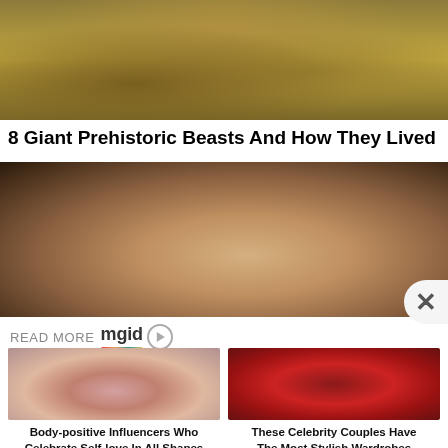[Figure (photo): Close-up photo of giant prehistoric beast/creature with textured rocky/earthy surroundings]
8 Giant Prehistoric Beasts And How They Lived
[Figure (photo): Photo of a blonde woman with heavy eye makeup alongside a man in black, partial faces visible]
READ MORE mgid
[Figure (photo): Body-positive woman in pink dress posing]
Body-positive Influencers Who Celebrate Self-love In All Shapes
[Figure (photo): Celebrity couple at formal event with red background, man in tuxedo, woman in white dress]
These Celebrity Couples Have The Most Stylish Wardrobes